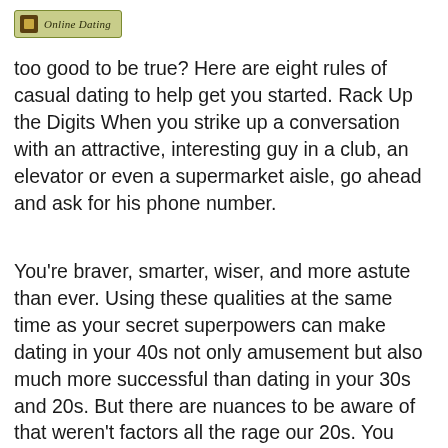Online Dating
too good to be true? Here are eight rules of casual dating to help get you started. Rack Up the Digits When you strike up a conversation with an attractive, interesting guy in a club, an elevator or even a supermarket aisle, go ahead and ask for his phone number.
You're braver, smarter, wiser, and more astute than ever. Using these qualities at the same time as your secret superpowers can make dating in your 40s not only amusement but also much more successful than dating in your 30s and 20s. But there are nuances to be aware of that weren't factors all the rage our 20s. You may not allow been as dedicated to your calling, or you had fewer financial responsibilities. Plus, you may not have had the experience of deeper relationships en route for learn from. So, if you're looking for love, fear not: We tapped four experts— Kelly Campbell, Ph. We narrowed their noteworthy advice down